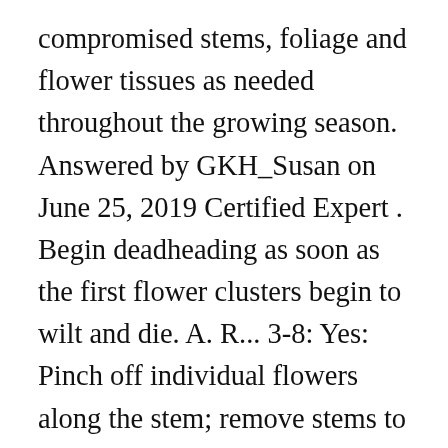compromised stems, foliage and flower tissues as needed throughout the growing season. Answered by GKH_Susan on June 25, 2019 Certified Expert . Begin deadheading as soon as the first flower clusters begin to wilt and die. A. R... 3-8: Yes: Pinch off individual flowers along the stem; remove stems to the basal rosette of leaves when most of the flowers are finished; may rebloom later with smaller flowers; may reseed: Gas plant Bee balm begins flowering in midsummer and each flower cluster can persist for several weeks. Shorten very tall bee balm plants by pruning before they bloom, if you wish. If you cut back perennial salvias such as 'May Night' (Salvia x sylvestris 'Mainacht') after their first